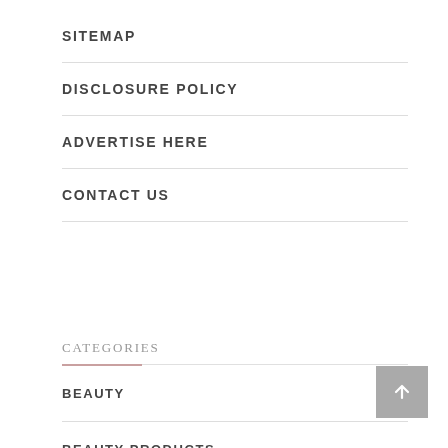SITEMAP
DISCLOSURE POLICY
ADVERTISE HERE
CONTACT US
CATEGORIES
BEAUTY
BEAUTY PRODUCTS